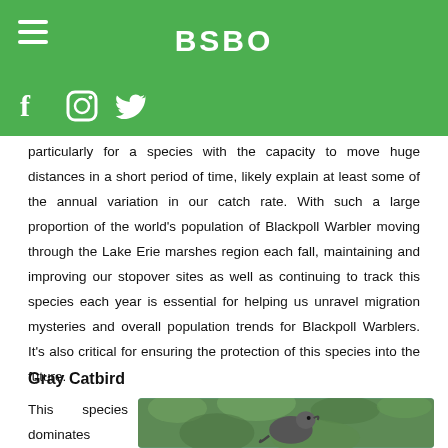BSBO
particularly for a species with the capacity to move huge distances in a short period of time, likely explain at least some of the annual variation in our catch rate. With such a large proportion of the world's population of Blackpoll Warbler moving through the Lake Erie marshes region each fall, maintaining and improving our stopover sites as well as continuing to track this species each year is essential for helping us unravel migration mysteries and overall population trends for Blackpoll Warblers. It's also critical for ensuring the protection of this species into the future.
Gray Catbird
This species dominates
[Figure (photo): Close-up photograph of a Gray Catbird perched, with green foliage in the background]